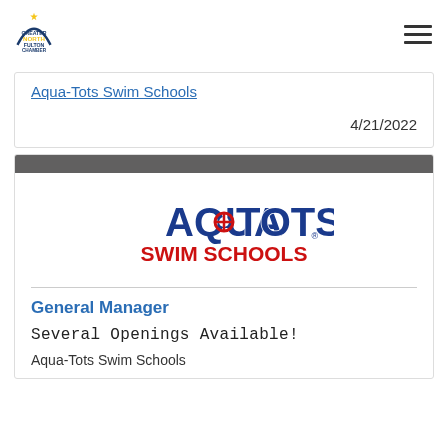Greater North Fulton Chamber
Aqua-Tots Swim Schools
4/21/2022
[Figure (logo): Aqua-Tots Swim Schools logo with blue bubble-style text and red swim life ring]
General Manager
Several Openings Available!
Aqua-Tots Swim Schools